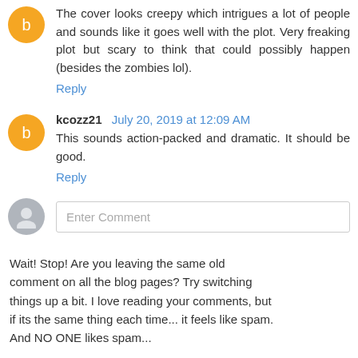The cover looks creepy which intrigues a lot of people and sounds like it goes well with the plot. Very freaking plot but scary to think that could possibly happen (besides the zombies lol).
Reply
kcozz21  July 20, 2019 at 12:09 AM
This sounds action-packed and dramatic. It should be good.
Reply
Enter Comment
Wait! Stop! Are you leaving the same old comment on all the blog pages? Try switching things up a bit. I love reading your comments, but if its the same thing each time... it feels like spam. And NO ONE likes spam...